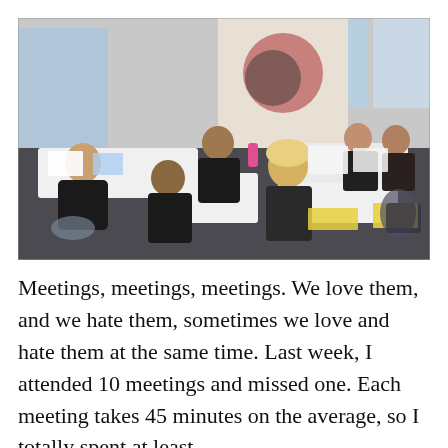[Figure (photo): A group of people sitting around tables in a bright office or co-working space, engaged in a collaborative meeting or workshop. There is a mural on the wall in the background, large windows, and papers and materials spread on the tables.]
Meetings, meetings, meetings. We love them, and we hate them, sometimes we love and hate them at the same time. Last week, I attended 10 meetings and missed one. Each meeting takes 45 minutes on the average, so I totally spent at least